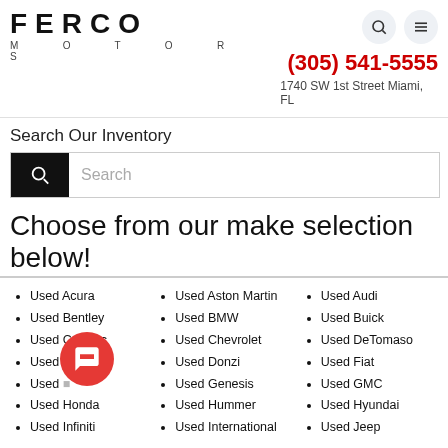[Figure (logo): FERCO MOTORS logo in bold black capitals with wide letter-spacing]
(305) 541-5555
1740 SW 1st Street Miami, FL
Search Our Inventory
Search
Choose from our make selection below!
Used Acura
Used Bentley
Used Cadillac
Used Dodge
Used (chat icon)
Used Honda
Used Infiniti
Used Aston Martin
Used BMW
Used Chevrolet
Used Donzi
Used Genesis
Used Hummer
Used International
Used Audi
Used Buick
Used DeTomaso
Used Fiat
Used GMC
Used Hyundai
Used Jeep